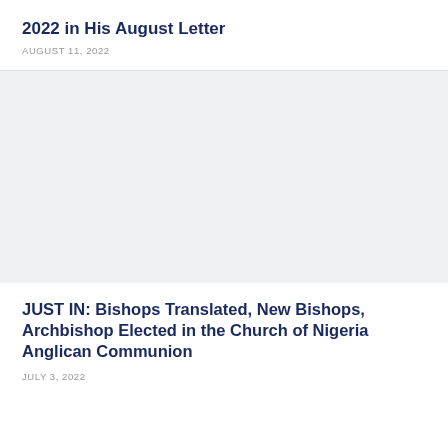2022 in His August Letter
AUGUST 11, 2022
[Figure (photo): Large image placeholder area, light grey background, associated with the August Letter article]
JUST IN: Bishops Translated, New Bishops, Archbishop Elected in the Church of Nigeria Anglican Communion
JULY 3, 2022